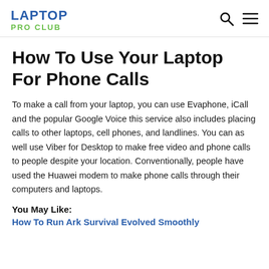LAPTOP PRO CLUB
How To Use Your Laptop For Phone Calls
To make a call from your laptop, you can use Evaphone, iCall and the popular Google Voice this service also includes placing calls to other laptops, cell phones, and landlines. You can as well use Viber for Desktop to make free video and phone calls to people despite your location. Conventionally, people have used the Huawei modem to make phone calls through their computers and laptops.
You May Like:
How To Run Ark Survival Evolved Smoothly